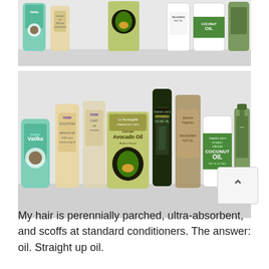[Figure (photo): Top cropped photo showing various hair oil bottles including Vatika, almond oil, avocado oil (La Tourangelle), macadamia nut oil, and Trader Joe's Organic Virgin Coconut Oil arranged on a white surface]
[Figure (photo): Full photo showing the same collection of hair oil bottles: Vatika, Now almond oil, Now castor oil, La Tourangelle Delicate Avocado Oil tin, Trader Joe's Spanish Olive Oil, Epicure Organics Macadamia Nut Oil, Trader Joe's Organic Virgin Coconut Oil jar, and Macadamia oil pump bottle arranged on a white surface]
My hair is perennially parched, ultra-absorbent, and scoffs at standard conditioners. The answer: oil. Straight up oil.